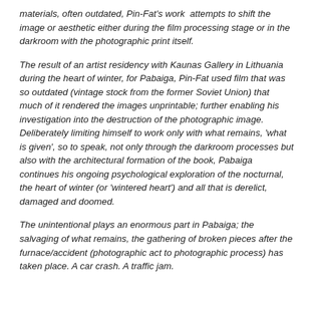materials, often outdated, Pin-Fat's work attempts to shift the image or aesthetic either during the film processing stage or in the darkroom with the photographic print itself.
The result of an artist residency with Kaunas Gallery in Lithuania during the heart of winter, for Pabaiga, Pin-Fat used film that was so outdated (vintage stock from the former Soviet Union) that much of it rendered the images unprintable; further enabling his investigation into the destruction of the photographic image. Deliberately limiting himself to work only with what remains, 'what is given', so to speak, not only through the darkroom processes but also with the architectural formation of the book, Pabaiga continues his ongoing psychological exploration of the nocturnal, the heart of winter (or 'wintered heart') and all that is derelict, damaged and doomed.
The unintentional plays an enormous part in Pabaiga; the salvaging of what remains, the gathering of broken pieces after the furnace/accident (photographic act to photographic process) has taken place. A car crash. A traffic jam.